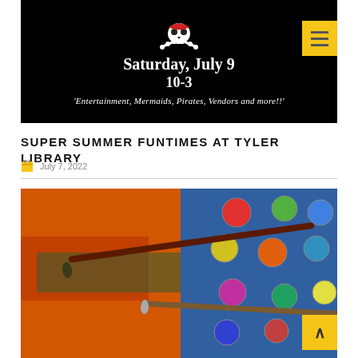[Figure (photo): Dark/black background event flyer with skull and crossbones, text reading 'Saturday, July 9 10-3 Entertainment, Mermaids, Pirates, Vendors and more!!']
SUPER SUMMER FUNTIMES AT TYLER LIBRARY
July 7, 2022
[Figure (photo): Close-up photo of paint brushes resting on colorful watercolor paint palettes with vibrant reds, oranges, blues, greens, and yellows]